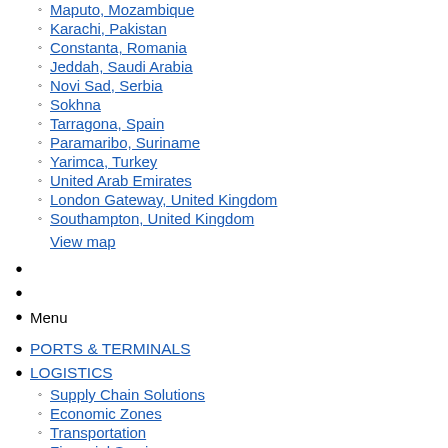Maputo, Mozambique
Karachi, Pakistan
Constanta, Romania
Jeddah, Saudi Arabia
Novi Sad, Serbia
Sokhna
Tarragona, Spain
Paramaribo, Suriname
Yarimca, Turkey
United Arab Emirates
London Gateway, United Kingdom
Southampton, United Kingdom
View map
Menu
PORTS & TERMINALS
LOGISTICS
Supply Chain Solutions
Economic Zones
Transportation
Financial Services
Related content